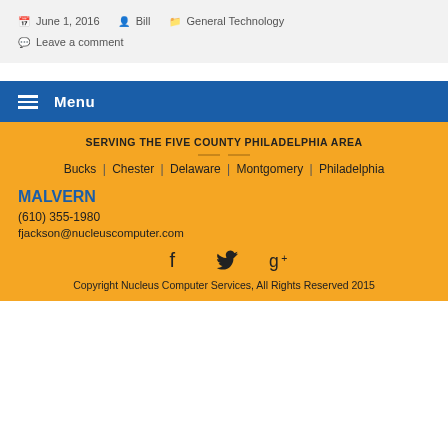June 1, 2016  Bill  General Technology  Leave a comment
Menu
SERVING THE FIVE COUNTY PHILADELPHIA AREA
Bucks | Chester | Delaware | Montgomery | Philadelphia
MALVERN
(610) 355-1980
fjackson@nucleuscomputer.com
[Figure (infographic): Social media icons: Facebook, Twitter, Google+]
Copyright Nucleus Computer Services, All Rights Reserved 2015